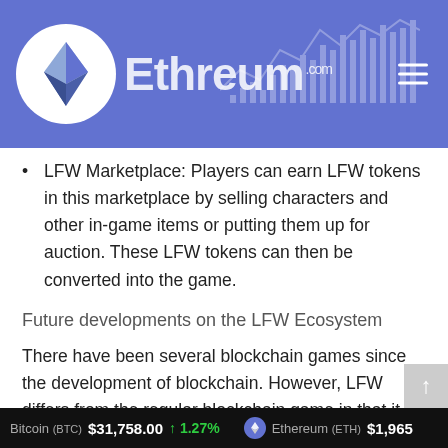Ethreum.com
LFW Marketplace: Players can earn LFW tokens in this marketplace by selling characters and other in-game items or putting them up for auction. These LFW tokens can then be converted into the game.
Future developments on the LFW Ecosystem
There have been several blockchain games since the development of blockchain. However, LFW differs from the regular blockchain game in that it would continue to evolve and develop.
Much more, LFW is working to make blockchain gaming in particular and the blockchain community in general
Bitcoin (BTC) $31,758.00 ↑ 1.27%   Ethereum (ETH) $1,965